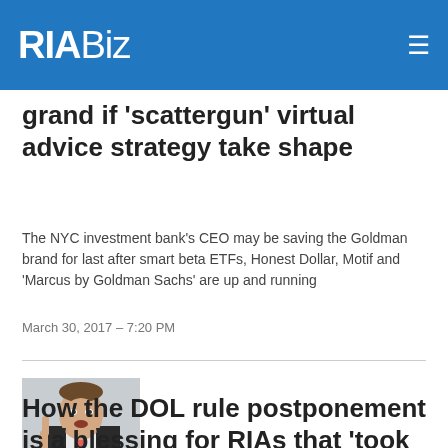RIABiz
grand if 'scattergun' virtual advice strategy take shape
The NYC investment bank's CEO may be saving the Goldman brand for last after smart beta ETFs, Honest Dollar, Motif and 'Marcus by Goldman Sachs' are up and running
March 30, 2017 – 7:20 PM
[Figure (photo): Man in suit with tie speaking, raising one finger]
How the DOL rule postponement is a blessing for RIAs that 'took their